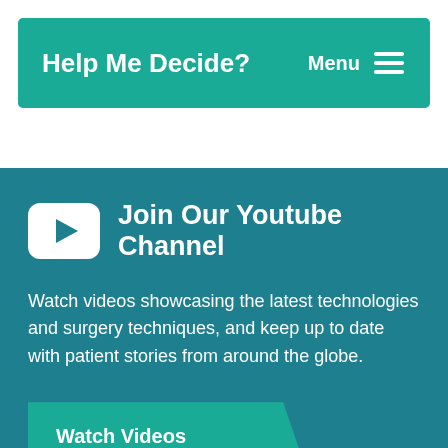Help Me Decide?   Menu
Join Our Youtube Channel
Watch videos showcasing the latest technologies and surgery techniques, and keep up to date with patient stories from around the globe.
Watch Videos